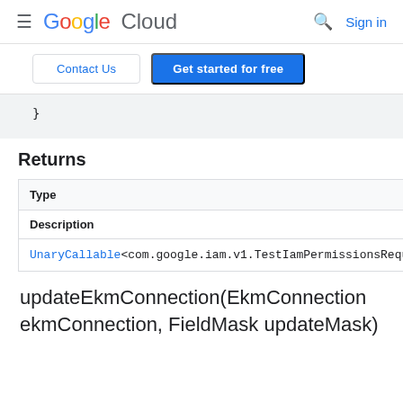≡ Google Cloud  🔍 Sign in
Contact Us | Get started for free
}
Returns
| Type |
| --- |
| Description |
| UnaryCallable<com.google.iam.v1.TestIamPermissionsRequest,co |
updateEkmConnection(EkmConnection ekmConnection, FieldMask updateMask)